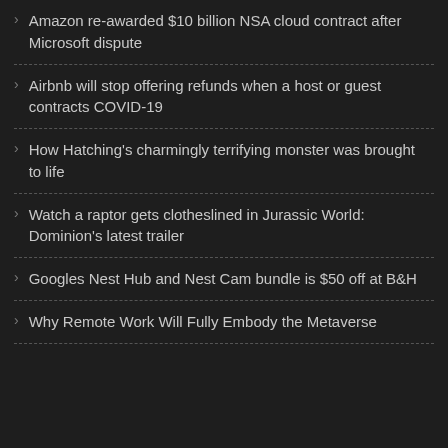Amazon re-awarded $10 billion NSA cloud contract after Microsoft dispute
Airbnb will stop offering refunds when a host or guest contracts COVID-19
How Hatching's charmingly terrifying monster was brought to life
Watch a raptor gets clotheslined in Jurassic World: Dominion's latest trailer
Googles Nest Hub and Nest Cam bundle is $50 off at B&H
Why Remote Work Will Fully Embody the Metaverse